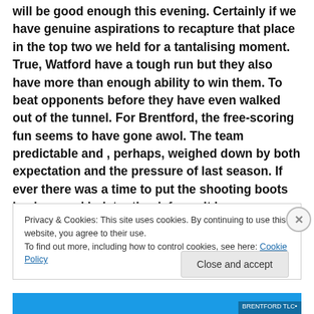will be good enough this evening. Certainly if we have genuine aspirations to recapture that place in the top two we held for a tantalising moment. True, Watford have a tough run but they also have more than enough ability to win them. To beat opponents before they have even walked out of the tunnel. For Brentford, the free-scoring fun seems to have gone awol. The team predictable and , perhaps, weighed down by both expectation and the pressure of last season. If ever there was a time to put the shooting boots back on and bolster the defence it is now.
Privacy & Cookies: This site uses cookies. By continuing to use this website, you agree to their use.
To find out more, including how to control cookies, see here: Cookie Policy
Close and accept